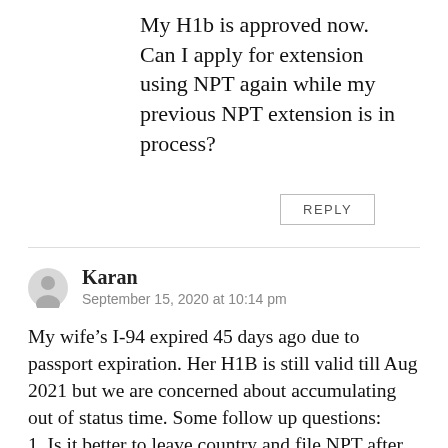My H1b is approved now. Can I apply for extension using NPT again while my previous NPT extension is in process?
REPLY
Karan
September 15, 2020 at 10:14 pm
My wife’s I-94 expired 45 days ago due to passport expiration. Her H1B is still valid till Aug 2021 but we are concerned about accumulating out of status time. Some follow up questions:
1. Is it better to leave country and file NPT after leaving country to avoid accumulating out of status time?
2. Is premium processing allowed on NPT?
3. How long does it take for NPT approval on...